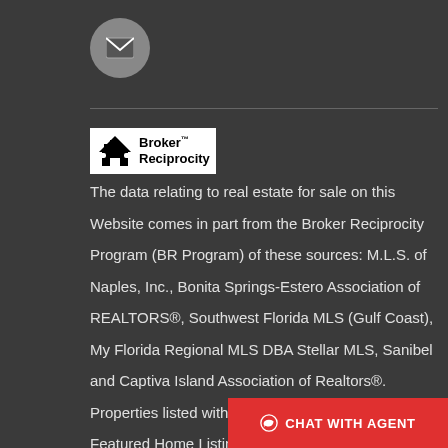[Figure (other): Email icon in gray circle]
[Figure (logo): Broker Reciprocity logo with house icon and bold text]
The data relating to real estate for sale on this Website comes in part from the Broker Reciprocity Program (BR Program) of these sources: M.L.S. of Naples, Inc., Bonita Springs-Estero Association of REALTORS®, Southwest Florida MLS (Gulf Coast), My Florida Regional MLS DBA Stellar MLS, Sanibel and Captiva Island Association of Realtors®. Properties listed with brokerage firms other than Featured Home Listings are marked with the BR Ho
[Figure (other): Chat with Agent button in red]